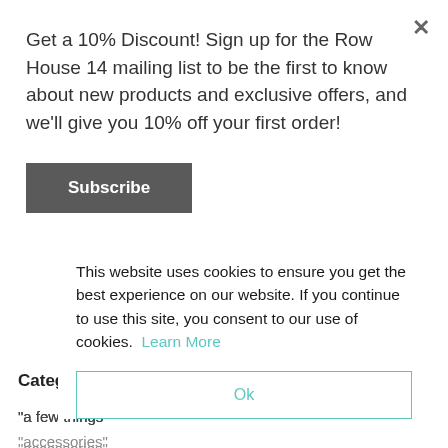Get a 10% Discount! Sign up for the Row House 14 mailing list to be the first to know about new products and exclusive offers, and we'll give you 10% off your first order!
Subscribe
Categories
"a few things"
"accessories"
"albums"
"a...
"a...
"art"
"Australia"
"badlands"
This website uses cookies to ensure you get the best experience on our website. If you continue to use this site, you consent to our use of cookies. Learn More
Ok